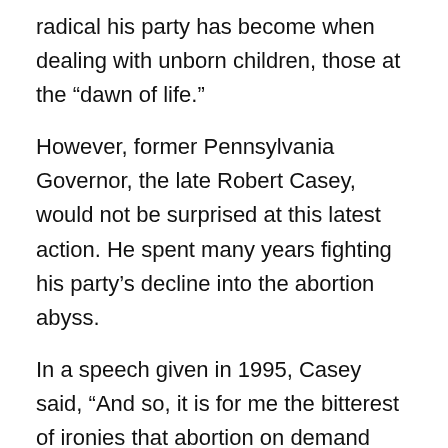radical his party has become when dealing with unborn children, those at the “dawn of life.”
However, former Pennsylvania Governor, the late Robert Casey, would not be surprised at this latest action. He spent many years fighting his party’s decline into the abortion abyss.
In a speech given in 1995, Casey said, “And so, it is for me the bitterest of ironies that abortion on demand found refuge, found a home – and it pains me to say this – found a home in the national Democratic Party. My party, the party of the weak, the party of the powerless. You see, to me, protecting the unborn child follows naturally from everything I know about my party and about my country. Nothing could